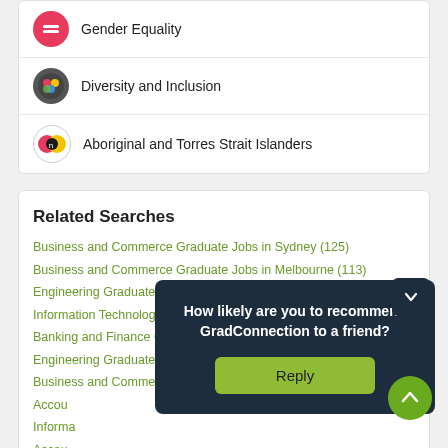Gender Equality
Diversity and Inclusion
Aboriginal and Torres Strait Islanders
Related Searches
Business and Commerce Graduate Jobs in Sydney (125)
Business and Commerce Graduate Jobs in Melbourne (113)
Engineering Graduate Jobs in Sydney (87)
Information Technology Graduate Jobs in Sydney (74)
Banking and Finance Graduate Jobs in Sydney (72)
Engineering Graduate Jobs in Melbourne (72)
Business and Commerce Graduate Jobs in Brisba...
Accou...
Informa...
Accou...
Bankin...
Manag...
How likely are you to recommend GradConnection to a friend?
Reply